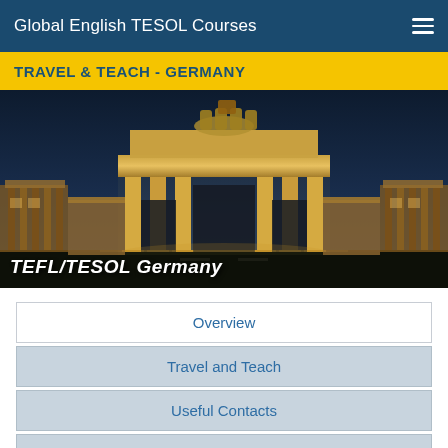Global English TESOL Courses
TRAVEL & TEACH - GERMANY
[Figure (photo): Night photograph of the Brandenburg Gate in Berlin, illuminated with warm golden light against a dark blue sky. Text overlay reads 'TEFL/TESOL Germany' in bold white italic font.]
Overview
Travel and Teach
Useful Contacts
Comments